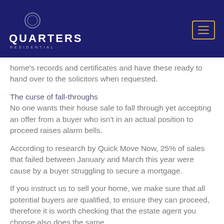[Figure (logo): Quarters Residential logo with circular ring icon on dark navy blue header background, with hamburger menu button in gold/yellow border on right]
home's records and certificates and have these ready to hand over to the solicitors when requested.
The curse of fall-throughs
No one wants their house sale to fall through yet accepting an offer from a buyer who isn't in an actual position to proceed raises alarm bells.
According to research by Quick Move Now, 25% of sales that failed between January and March this year were cause by a buyer struggling to secure a mortgage.
If you instruct us to sell your home, we make sure that all potential buyers are qualified, to ensure they can proceed, therefore it is worth checking that the estate agent you choose also does the same.